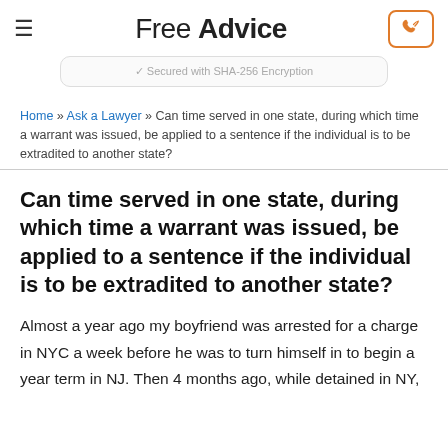Free Advice
Secured with SHA-256 Encryption
Home » Ask a Lawyer » Can time served in one state, during which time a warrant was issued, be applied to a sentence if the individual is to be extradited to another state?
Can time served in one state, during which time a warrant was issued, be applied to a sentence if the individual is to be extradited to another state?
Almost a year ago my boyfriend was arrested for a charge in NYC a week before he was to turn himself in to begin a year term in NJ. Then 4 months ago, while detained in NY,